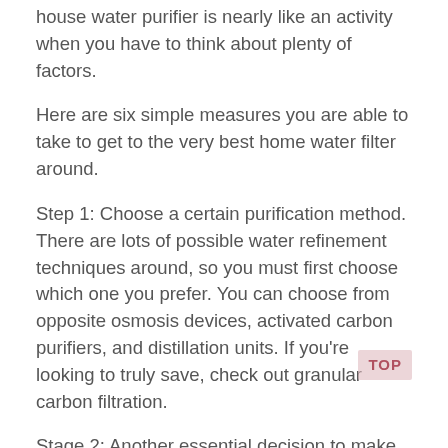house water purifier is nearly like an activity when you have to think about plenty of factors.
Here are six simple measures you are able to take to get to the very best home water filter around.
Step 1: Choose a certain purification method. There are lots of possible water refinement techniques around, so you must first choose which one you prefer. You can choose from opposite osmosis devices, activated carbon purifiers, and distillation units. If you're looking to truly save, check out granular carbon filtration.
Stage 2: Another essential decision to make is which kind of water filter program you want. Are you currently about to filtration your entire water offer or have you been trying to find anything little range such as a drinking tap water filtration or a sink filter. Home water cleansers for your house are more costly but are price the investment given that they stop you confident of the hygiene and safety of